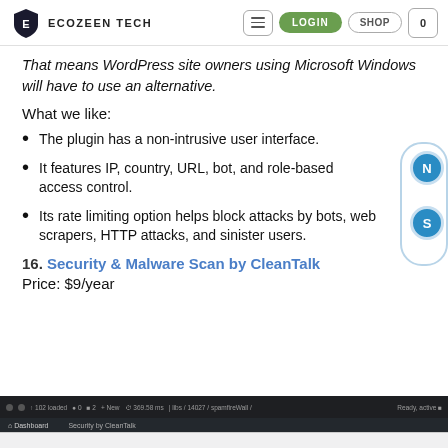ECOZEEN TECH — LOGIN | SHOP | 0
That means WordPress site owners using Microsoft Windows will have to use an alternative.
What we like:
The plugin has a non-intrusive user interface.
It features IP, country, URL, bot, and role-based access control.
Its rate limiting option helps block attacks by bots, web scrapers, HTTP attacks, and sinister users.
16. Security & Malware Scan by CleanTalk
Price: $9/year
[Figure (screenshot): Bottom portion showing a WordPress admin page for Security by CleanTalk plugin]